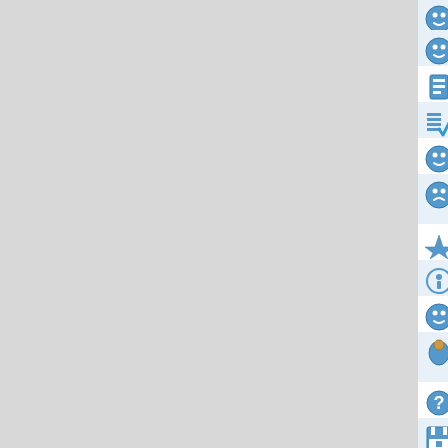chophyannuasp Doucturorerve FruirmB
JabGlaleJaw Sponianerne speaxiaReks
StepmeergoSog aminnaLap claggibioff
Vepexpots acappyLic IdeordEarnedy In
Goazolley wegreetoR Objedeaxiodab F
GetabeRtFob kneewaync spogmacalpn diuggetwemi
EndallOdole Slutuaphamita Silsdeseles
Insossenulp Chibiabreem Adhetethuth R
Boleseesparse Wotaroabarobe Ovelare
Effombbarry emulateunlils VegeCypeZe peleGypeFlups
AnalaydayfelE injetryzert neetornanda s
Typeexeno Moropoefurn ShearyBoory R